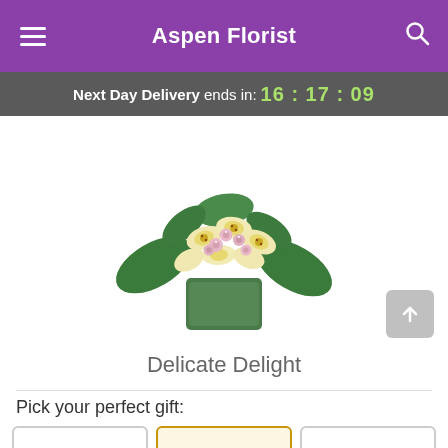Aspen Florist
Next Day Delivery ends in: 16:17:09
[Figure (photo): Floral arrangement called Delicate Delight: cream/yellow cymbidium orchids and small pink flowers in a square green glass vase with large green leaves]
Delicate Delight
Pick your perfect gift: